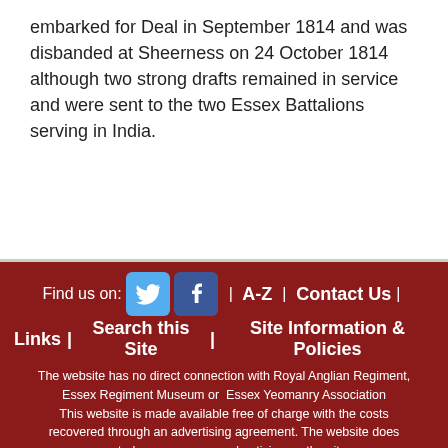embarked for Deal in September 1814 and was disbanded at Sheerness on 24 October 1814 although two strong drafts remained in service and were sent to the two Essex Battalions serving in India.
Find us on: [Twitter] [Facebook] | A-Z | Contact Us | Links | Search this Site | Site Information & Policies
The website has no direct connection with Royal Anglian Regiment, Essex Regiment Museum or Essex Yeomanry Association
This website is made available free of charge with the costs recovered through an advertising agreement. The website does control or ensorse any advertising on the site.